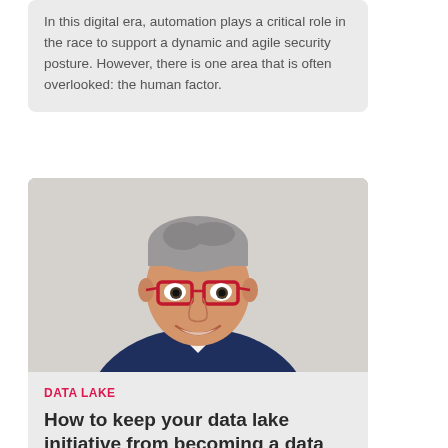In this digital era, automation plays a critical role in the race to support a dynamic and agile security posture. However, there is one area that is often overlooked: the human factor.
[Figure (photo): Professional headshot of a middle-aged man with grey hair, glasses with red frames, wearing a dark navy suit and white shirt, smiling, against a light grey background.]
DATA LAKE
How to keep your data lake initiative from becoming a data swamp
Enterprises can utilise data lakes to